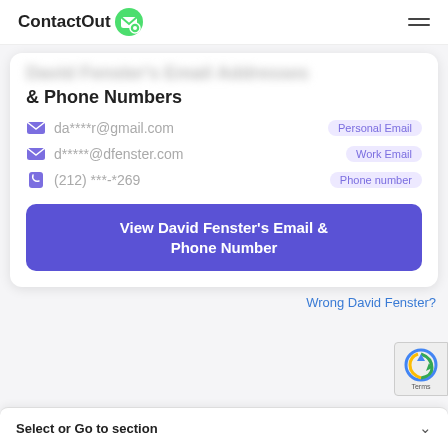ContactOut
David Fenster's Email Addresses & Phone Numbers
da****r@gmail.com  Personal Email
d*****@dfenster.com  Work Email
(212) ***-*269  Phone number
View David Fenster's Email & Phone Number
Wrong David Fenster?
Select or Go to section